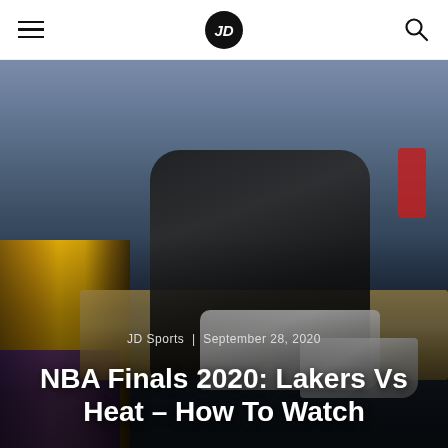JD Sports navigation bar with hamburger menu, JD logo, and search icon
[Figure (photo): Hero image showing NBA players during 2020 Finals — a Lakers player in yellow/purple uniform on the left side, and another player crouching/bending near the court floor with white sneakers and tape visible, dark blurred background with courtside wood flooring]
JD Sports | September 28, 2020
NBA Finals 2020: Lakers Vs Heat – How To Watch